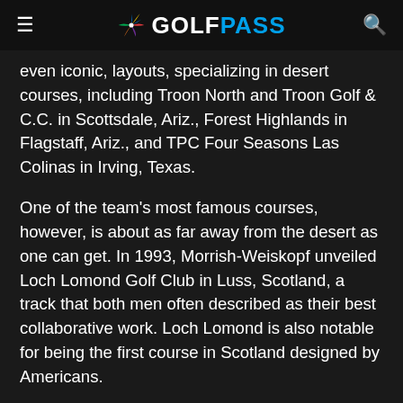GOLFPASS
even iconic, layouts, specializing in desert courses, including Troon North and Troon Golf & C.C. in Scottsdale, Ariz., Forest Highlands in Flagstaff, Ariz., and TPC Four Seasons Las Colinas in Irving, Texas.
One of the team's most famous courses, however, is about as far away from the desert as one can get. In 1993, Morrish-Weiskopf unveiled Loch Lomond Golf Club in Luss, Scotland, a track that both men often described as their best collaborative work. Loch Lomond is also notable for being the first course in Scotland designed by Americans.
In the 1990s, Morrish and Weiskopf parted ways, but Morrish continued building courses...